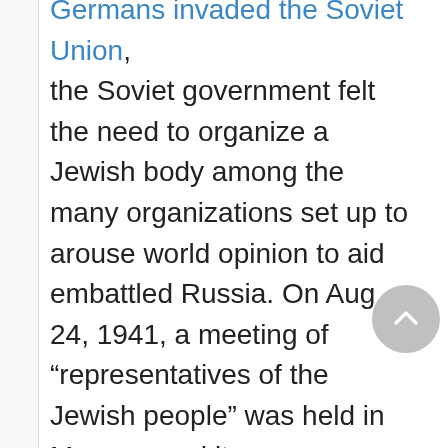Germans invaded the Soviet Union, the Soviet government felt the need to organize a Jewish body among the many organizations set up to arouse world opinion to aid embattled Russia. On Aug. 24, 1941, a meeting of "representatives of the Jewish people" was held in Moscow and it was addressed by Solomon *Mikhoels, Ilya *Ehrenburg, David *Bergelson, and others, who called on "our Jewish brethren throughout the world" to come to the aid of the Soviet Union. This...